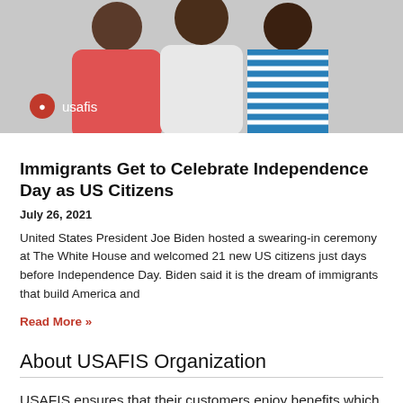[Figure (photo): Three men standing together, one in a pink/red shirt, one in white, one in a blue and white striped shirt. USAFIS logo overlay in the lower left corner.]
Immigrants Get to Celebrate Independence Day as US Citizens
July 26, 2021
United States President Joe Biden hosted a swearing-in ceremony at The White House and welcomed 21 new US citizens just days before Independence Day. Biden said it is the dream of immigrants that build America and
Read More »
About USAFIS Organization
USAFIS ensures that their customers enjoy benefits which are generally not available to